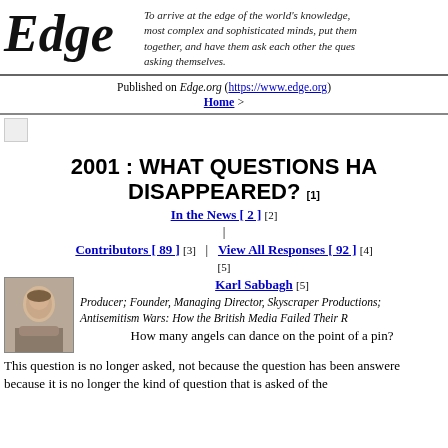[Figure (logo): Edge magazine/website logo in large italic serif font]
To arrive at the edge of the world's knowledge, most complex and sophisticated minds, put them together, and have them ask each other the questions they are asking themselves.
Published on Edge.org (https://www.edge.org)
Home >
[Figure (illustration): Small image icon placeholder]
2001 : WHAT QUESTIONS HAVE DISAPPEARED? [1]
In the News [ 2 ] [2]
Contributors [ 89 ] [3] | View All Responses [ 92 ] [4]
[5]
Karl Sabbagh [5]
[Figure (photo): Photo of Karl Sabbagh, a middle-aged man]
Producer; Founder, Managing Director, Skyscraper Productions; Antisemitism Wars: How the British Media Failed Their R
How many angels can dance on the point of a pin?
This question is no longer asked, not because the question has been answered but because it is no longer the kind of question that is asked of the...